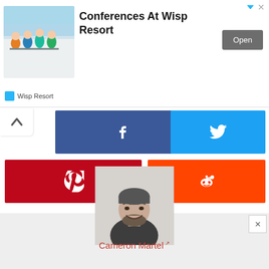[Figure (screenshot): Advertisement banner for Conferences At Wisp Resort showing group of skiers photo, title text, Open button, and Wisp Resort brand name]
[Figure (infographic): Social media share buttons: Facebook (dark blue), Twitter (light blue), Pinterest (red), Reddit (orange-red), with collapse arrow button]
[Figure (photo): Headshot photo of Cameron Martel, a man smiling in a dark shirt]
Cameron Martel ↗